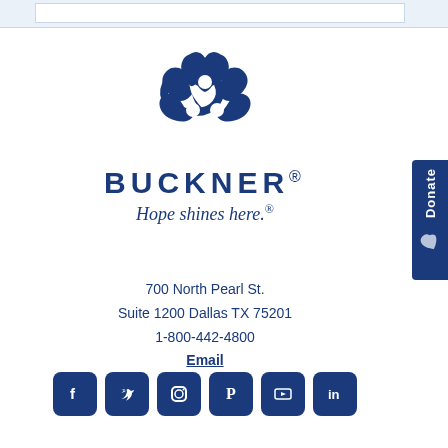[Figure (logo): Buckner logo: three interlocking heart shapes forming a clover/trefoil, dark navy blue, above the text BUCKNER with tagline Hope shines here.]
700 North Pearl St.
Suite 1200 Dallas TX 75201
1-800-442-4800
Email
[Figure (infographic): Row of six social media icon buttons (Facebook, Twitter, Instagram, Pinterest, YouTube, LinkedIn) in dark navy blue rounded square buttons with white icons.]